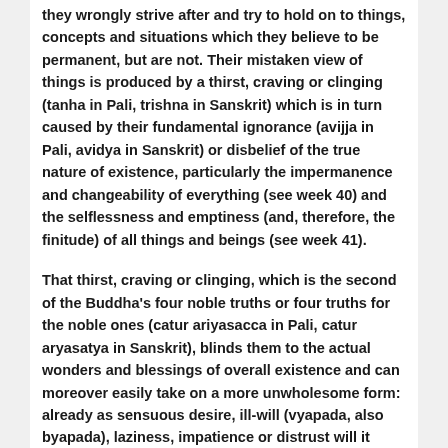they wrongly strive after and try to hold on to things, concepts and situations which they believe to be permanent, but are not. Their mistaken view of things is produced by a thirst, craving or clinging (tanha in Pali, trishna in Sanskrit) which is in turn caused by their fundamental ignorance (avijja in Pali, avidya in Sanskrit) or disbelief of the true nature of existence, particularly the impermanence and changeability of everything (see week 40) and the selflessness and emptiness (and, therefore, the finitude) of all things and beings (see week 41).
That thirst, craving or clinging, which is the second of the Buddha's four noble truths or four truths for the noble ones (catur ariyasacca in Pali, catur aryasatya in Sanskrit), blinds them to the actual wonders and blessings of overall existence and can moreover easily take on a more unwholesome form: already as sensuous desire, ill-will (vyapada, also byapada), laziness, impatience or distrust will it seriously hinder the individual's efforts to better his or her circumstances, as well as contaminate the efforts of